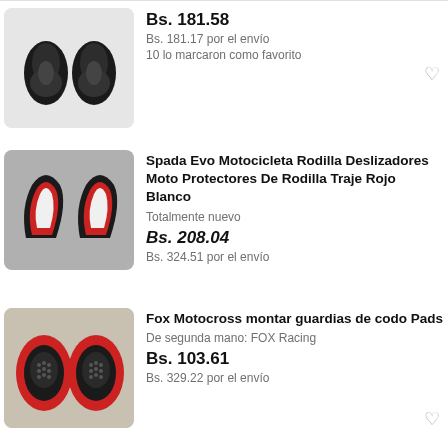[Figure (photo): Two black motorcycle knee pads/guards on white background]
Bs. 181.58
Bs. 181.17 por el envío
10 lo marcaron como favorito
[Figure (photo): Two red, white and black motorcycle knee sliders/protectors on grey background]
Spada Evo Motocicleta Rodilla Deslizadores Moto Protectores De Rodilla Traje Rojo Blanco
Totalmente nuevo
Bs. 208.04
Bs. 324.51 por el envío
[Figure (photo): Two red and black Fox Motocross elbow/knee pads on wooden surface]
Fox Motocross montar guardias de codo Pads
De segunda mano: FOX Racing
Bs. 103.61
Bs. 329.22 por el envío